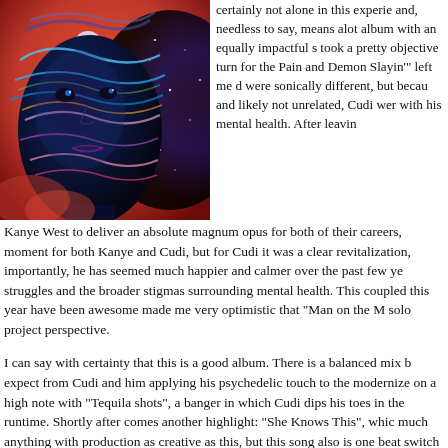[Figure (illustration): Colorful psychedelic portrait of a man (Kid Cudi) with vibrant blues, purples, reds and swirling patterns, cosmic/space imagery on the right side of his face]
certainly not alone in this experie and, needless to say, means alot album with an equally impactful s took a pretty objective turn for the Pain and Demon Slayin'" left me d were sonically different, but becau and likely not unrelated, Cudi wer with his mental health. After leavin Kanye West to deliver an absolute magnum opus for both of their careers, moment for both Kanye and Cudi, but for Cudi it was a clear revitalization, importantly, he has seemed much happier and calmer over the past few ye struggles and the broader stigmas surrounding mental health. This coupled this year have been awesome made me very optimistic that "Man on the M solo project perspective.
I can say with certainty that this is a good album. There is a balanced mix b expect from Cudi and him applying his psychedelic touch to the modernize on a high note with "Tequila shots", a banger in which Cudi dips his toes in the runtime. Shortly after comes another highlight: "She Knows This", whic much anything with production as creative as this, but this song also is one beat switch about 2 minutes in, definitely one of my favorites. Up to track 5 "Damaged" the album hits a lull of 5 or 6 really boring tracks in a row. The n flexing his vocal prowess at all throughout this section. It should also be ac album, with features from Pop Smoke (posthumous) and British rapper Ske